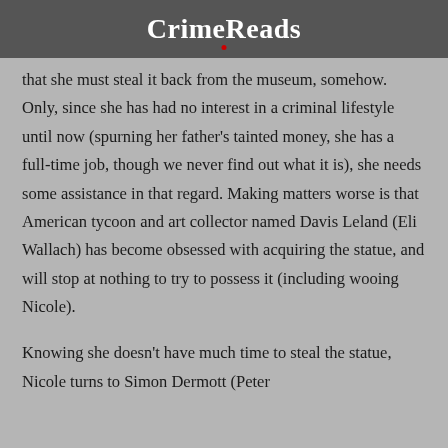CrimeReads
that she must steal it back from the museum, somehow. Only, since she has had no interest in a criminal lifestyle until now (spurning her father's tainted money, she has a full-time job, though we never find out what it is), she needs some assistance in that regard. Making matters worse is that American tycoon and art collector named Davis Leland (Eli Wallach) has become obsessed with acquiring the statue, and will stop at nothing to try to possess it (including wooing Nicole).
Knowing she doesn't have much time to steal the statue, Nicole turns to Simon Dermott (Peter